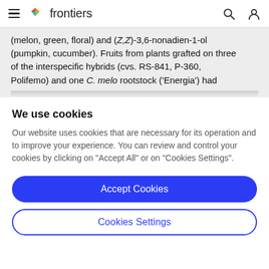frontiers
(melon, green, floral) and (Z,Z)-3,6-nonadien-1-ol (pumpkin, cucumber). Fruits from plants grafted on three of the interspecific hybrids (cvs. RS-841, P-360, Polifemo) and one C. melo rootstock ('Energia') had
We use cookies
Our website uses cookies that are necessary for its operation and to improve your experience. You can review and control your cookies by clicking on "Accept All" or on "Cookies Settings".
Accept Cookies
Cookies Settings